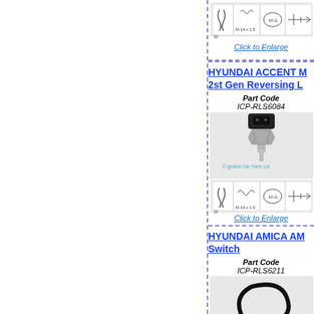[Figure (photo): Technical diagram/photo of a reversing light switch with schematic drawings below showing dimensions M14x1.5 and wrench size 22]
Click to Enlarge
HYUNDAI ACCENT M 2st Gen Reversing L
Part Code ICP-RLS6084
[Figure (photo): Photo of a threaded reversing light switch sensor with black connector, plus technical schematic showing dimensions M14x1.5, wrench size 22, resistance 10 ohm, and circuit diagram. Watermark: © Ignition Car Parts Ltd]
Click to Enlarge
HYUNDAI AMICA AMI Switch
Part Code ICP-RLS6211
[Figure (photo): Photo of a reversing light switch with cable/wire harness. Watermark: © Ignition Car Parts Ltd]